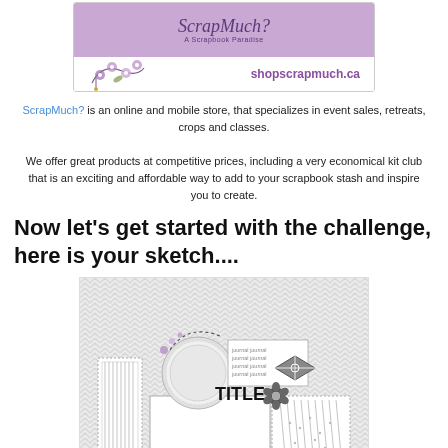[Figure (illustration): ScrapMuch? A Scrapbook Paradise banner with purple background, floral decorations, and shopscrapmuch.ca URL]
ScrapMuch? is an online and mobile store, that specializes in event sales, retreats, crops and classes. We offer great products at competitive prices, including a very economical kit club that is an exciting and affordable way to add to your scrapbook stash and inspire you to create.
Now let's get started with the challenge, here is your sketch....
[Figure (illustration): Scrapbook layout sketch showing chevron patterned background, circular doily element, journaling lines, title placeholder, decorative flower and embellishments, and photo mat areas with striped and dotted patterns]